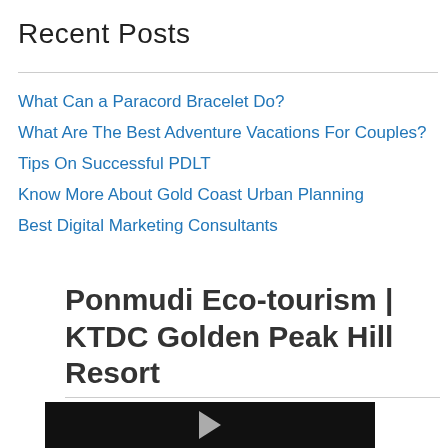Recent Posts
What Can a Paracord Bracelet Do?
What Are The Best Adventure Vacations For Couples?
Tips On Successful PDLT
Know More About Gold Coast Urban Planning
Best Digital Marketing Consultants
Ponmudi Eco-tourism | KTDC Golden Peak Hill Resort
[Figure (screenshot): YouTube video thumbnail for 'Ponmudi Eco-touris...' with red play button icon, dark background, and three-dot menu icon. Social sharing icons (Facebook, Google+, Twitter, plus) on the left side.]